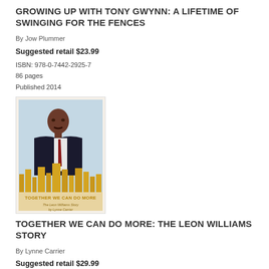GROWING UP WITH TONY GWYNN: A LIFETIME OF SWINGING FOR THE FENCES
By Jow Plummer
Suggested retail $23.99
ISBN: 978-0-7442-2925-7
86 pages
Published 2014
[Figure (photo): Book cover for 'Together We Can Do More: The Leon Williams Story' by Lynne Carrier, showing a man in a suit with a city skyline illustrated background]
TOGETHER WE CAN DO MORE: THE LEON WILLIAMS STORY
By Lynne Carrier
Suggested retail $29.99